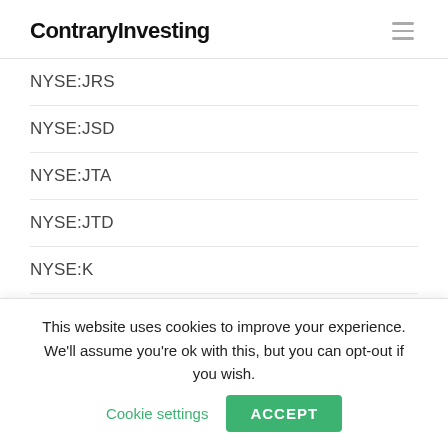ContraryInvesting
NYSE:JRS
NYSE:JSD
NYSE:JTA
NYSE:JTD
NYSE:K
Nyse:kar
NYSE:KBH
NYSE:KD
NYSE:KEY
This website uses cookies to improve your experience. We'll assume you're ok with this, but you can opt-out if you wish.
Cookie settings
ACCEPT